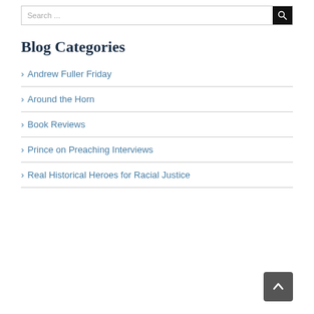Search ...
Blog Categories
Andrew Fuller Friday
Around the Horn
Book Reviews
Prince on Preaching Interviews
Real Historical Heroes for Racial Justice